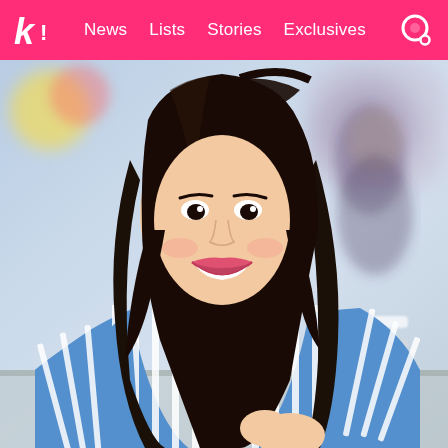k! News Lists Stories Exclusives
[Figure (photo): A young woman with long dark hair, smiling brightly, wearing a blue and white vertical striped long-sleeve shirt. Background is blurred showing an outdoor setting.]